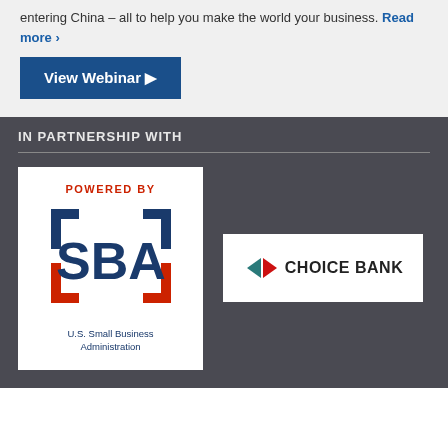entering China – all to help you make the world your business. Read more >
[Figure (other): View Webinar button with arrow, dark blue background]
IN PARTNERSHIP WITH
[Figure (logo): SBA - Powered By U.S. Small Business Administration logo with bracket design in navy and red on white background]
[Figure (logo): Choice Bank logo with double arrow chevron in teal and red on white background]